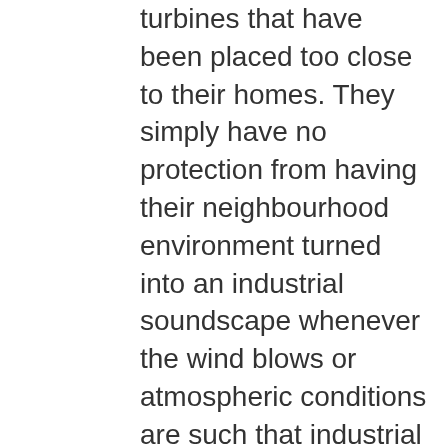turbines that have been placed too close to their homes. They simply have no protection from having their neighbourhood environment turned into an industrial soundscape whenever the wind blows or atmospheric conditions are such that industrial wind turbines make a variety of unnatural, penetrating, pervasive sounds.
Rural residents have been used as subjects of an experiment, where they are being exposed to audible sound and infrasound radiation from industrial wind turbines in close proximity to their homes. Carmen